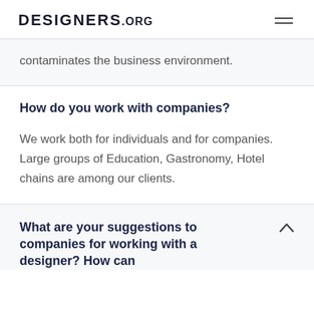DESIGNERS.ORG
contaminates the business environment.
How do you work with companies?
We work both for individuals and for companies. Large groups of Education, Gastronomy, Hotel chains are among our clients.
What are your suggestions to companies for working with a designer? How can